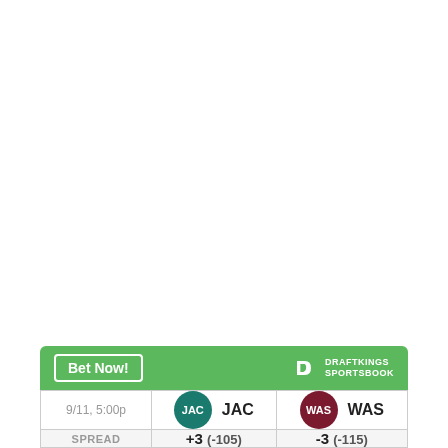| Date/Time | Team 1 | Team 2 |
| --- | --- | --- |
| 9/11, 5:00p | JAC | WAS |
| SPREAD | +3 (-105) | -3 (-115) |